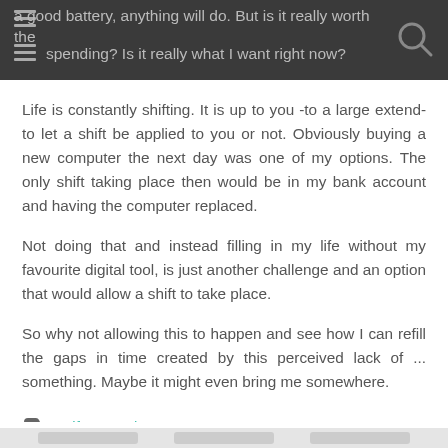a good battery, anything will do. But is it really worth the spending? Is it really what I want right now?
Life is constantly shifting. It is up to you -to a large extend- to let a shift be applied to you or not. Obviously buying a new computer the next day was one of my options. The only shift taking place then would be in my bank account and having the computer replaced.
Not doing that and instead filling in my life without my favourite digital tool, is just another challenge and an option that would allow a shift to take place.
So why not allowing this to happen and see how I can refill the gaps in time created by this perceived lack of ... something. Maybe it might even bring me somewhere.
Life, Travel